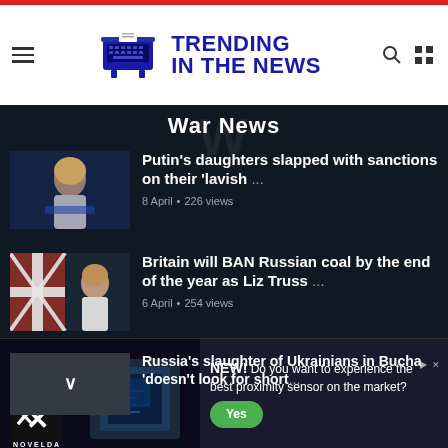TRENDING IN THE NEWS
War News
[Figure (photo): Woman with blonde hair speaking at a podium with blue background, White House briefing room setting]
Putin's daughters slapped with sanctions on their 'lavish ...
8 April · 226 views
[Figure (photo): Woman with blonde hair, Union Jack flag visible behind her, dark background]
Britain will BAN Russian coal by the end of the year as Liz Truss ...
6 April · 254 views
[Figure (photo): Partially visible image, grey tones, third news article thumbnail]
Russia's slaughter of Ukrainians in Bucha 'doesn't look for short...
[Figure (logo): NOVELDA advertisement banner with chip image. NEW! Do you want to experience the best proximity sensor on the market? Yes button.]